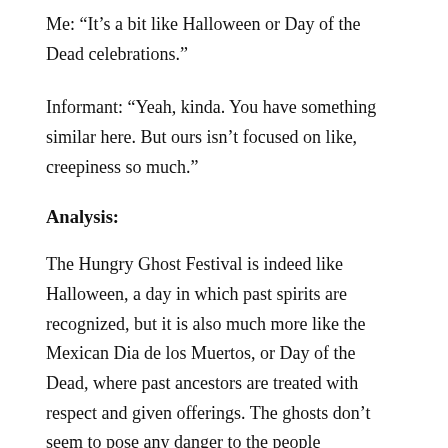Me: “It’s a bit like Halloween or Day of the Dead celebrations.”
Informant: “Yeah, kinda. You have something similar here. But ours isn’t focused on like, creepiness so much.”
Analysis:
The Hungry Ghost Festival is indeed like Halloween, a day in which past spirits are recognized, but it is also much more like the Mexican Dia de los Muertos, or Day of the Dead, where past ancestors are treated with respect and given offerings. The ghosts don’t seem to pose any danger to the people celebrating, and are in fact welcomed since these are the old ancestors of families. The donations and offerings are there as signs of respect and a way to ensure comforts of passed family members. The fact that there are